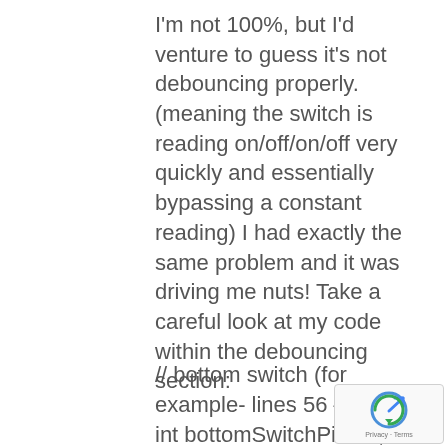I'm not 100%, but I'd venture to guess it's not debouncing properly. (meaning the switch is reading on/off/on/off very quickly and essentially bypassing a constant reading) I had exactly the same problem and it was driving me nuts! Take a careful look at my code within the debouncing section:
// bottom switch (for example- lines 56 – 60)
int bottomSwitchPinVal; //